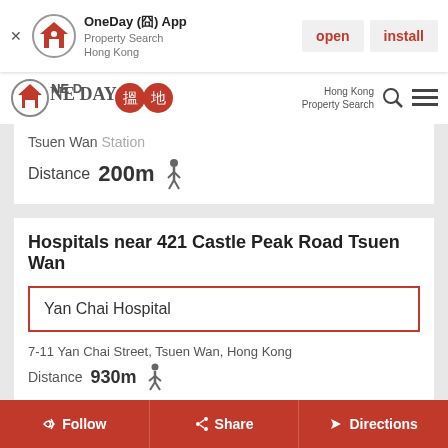[Figure (screenshot): App install banner for OneDay Property Search Hong Kong app with open and install buttons]
[Figure (logo): OneDay property search Hong Kong logo with Chinese characters]
Tsuen Wan Station
Distance 200m
Hospitals near 421 Castle Peak Road Tsuen Wan
Yan Chai Hospital
7-11 Yan Chai Street, Tsuen Wan, Hong Kong
Distance 930m
Follow  Share  Directions